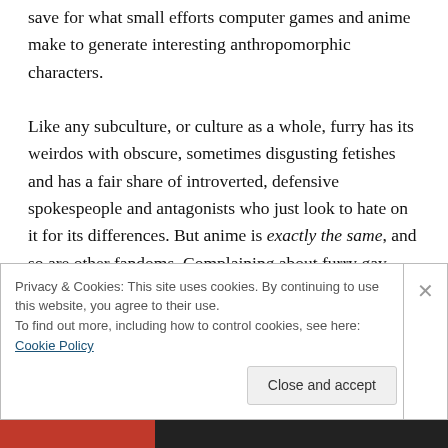save for what small efforts computer games and anime make to generate interesting anthropomorphic characters.

Like any subculture, or culture as a whole, furry has its weirdos with obscure, sometimes disgusting fetishes and has a fair share of introverted, defensive spokespeople and antagonists who just look to hate on it for its differences. But anime is exactly the same, and so are other fandoms. Complaining about furry gay porn and then singing the praises of 'artistic' shonen-ai or yaoi ('young boy' and gay manga/anime respectively) is somewhat of a
Privacy & Cookies: This site uses cookies. By continuing to use this website, you agree to their use.
To find out more, including how to control cookies, see here: Cookie Policy